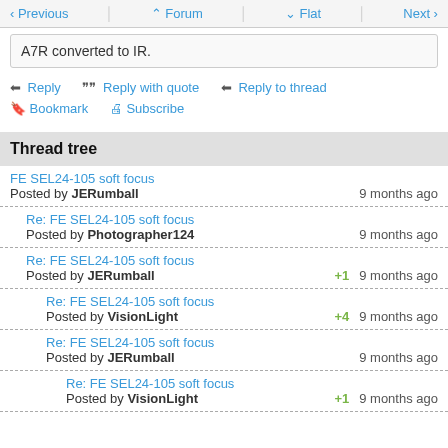Previous | Forum | Flat | Next
A7R converted to IR.
Reply | Reply with quote | Reply to thread
Bookmark | Subscribe
Thread tree
FE SEL24-105 soft focus
Posted by JERumball
9 months ago
Re: FE SEL24-105 soft focus
Posted by Photographer124
9 months ago
Re: FE SEL24-105 soft focus
Posted by JERumball
+1
9 months ago
Re: FE SEL24-105 soft focus
Posted by VisionLight
+4
9 months ago
Re: FE SEL24-105 soft focus
Posted by JERumball
9 months ago
Re: FE SEL24-105 soft focus
Posted by VisionLight
+1
9 months ago